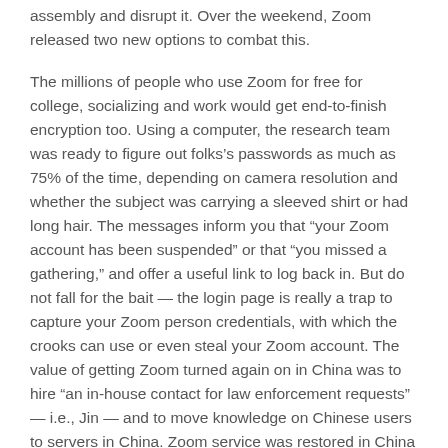assembly and disrupt it. Over the weekend, Zoom released two new options to combat this.
The millions of people who use Zoom for free for college, socializing and work would get end-to-finish encryption too. Using a computer, the research team was ready to figure out folks's passwords as much as 75% of the time, depending on camera resolution and whether the subject was carrying a sleeved shirt or had long hair. The messages inform you that “your Zoom account has been suspended” or that “you missed a gathering,” and offer a useful link to log back in. But do not fall for the bait — the login page is really a trap to capture your Zoom person credentials, with which the crooks can use or even steal your Zoom account. The value of getting Zoom turned again on in China was to hire “an in-house contact for law enforcement requests” — i.e., Jin — and to move knowledge on Chinese users to servers in China. Zoom service was restored in China in November 2019, and the Dept. of Justice’s arrest warrant for Jin was issued a 12 months later.